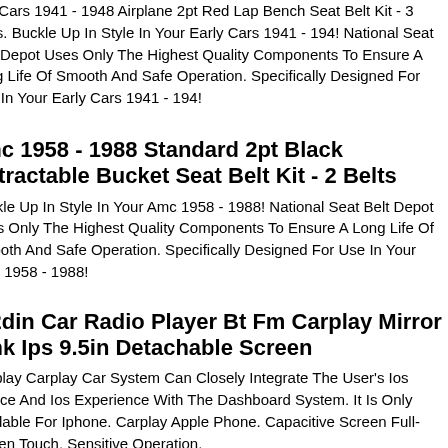any Cars 1941 - 1948 Airplane 2pt Red Lap Bench Seat Belt Kit - 3 Belts. Buckle Up In Style In Your Early Cars 1941 - 194! National Seat Belt Depot Uses Only The Highest Quality Components To Ensure A Long Life Of Smooth And Safe Operation. Specifically Designed For Use In Your Early Cars 1941 - 194!
amc 1958 - 1988 Standard 2pt Black Retractable Bucket Seat Belt Kit - 2 Belts
Buckle Up In Style In Your Amc 1958 - 1988! National Seat Belt Depot Uses Only The Highest Quality Components To Ensure A Long Life Of Smooth And Safe Operation. Specifically Designed For Use In Your Amc 1958 - 1988!
d 2din Car Radio Player Bt Fm Carplay Mirror Link Ips 9.5in Detachable Screen
Carplay Carplay Car System Can Closely Integrate The User's Ios Device And Ios Experience With The Dashboard System. It Is Only Available For Iphone. Carplay Apple Phone. Capacitive Screen Full-screen Touch, Sensitive Operation.